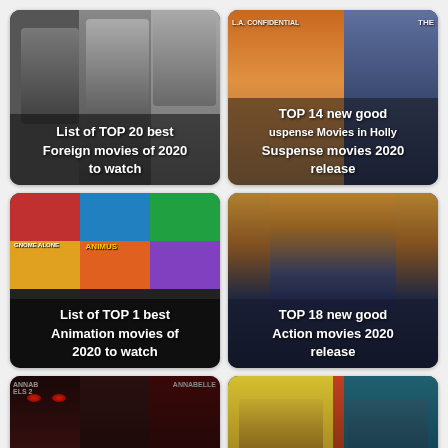[Figure (photo): Movie thumbnail card: black and white film stills collage. Text overlay reads 'List of TOP 20 best Foreign movies of 2020 to watch']
[Figure (photo): Movie thumbnail card: L.A. Confidential and other suspense movie posters collage. Text overlay reads 'TOP 14 new good Suspense Movies in Holly Suspense movies 2020 release']
[Figure (photo): Movie thumbnail card: colorful animation movie posters grid. Text overlay reads 'List of TOP 1 best Animation movies of 2020 to watch']
[Figure (photo): Movie thumbnail card: Wonder Woman action scene. Text overlay reads 'TOP 18 new good Action movies 2020 release']
[Figure (photo): Movie thumbnail card (partially visible): horror movie posters including Annabelle. No text overlay visible.]
[Figure (photo): Movie thumbnail card (partially visible): western/action movie stills collage. No text overlay visible.]